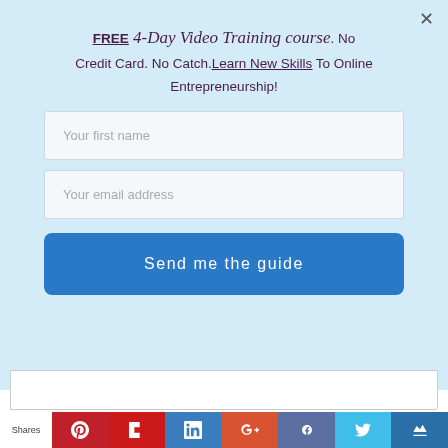FREE 4-Day Video Training course. No Credit Card. No Catch. Learn New Skills To Online Entrepreneurship!
[Figure (screenshot): Web form with fields for first name and email address, and a blue 'Send me the guide' button, on a light blue background. A close (X) button is in the top right corner.]
[Figure (infographic): Social sharing bar at the bottom with icons for Pinterest, Flipboard, LinkedIn, Google+, Facebook, Twitter, and another platform. 'Shares' label on the left.]